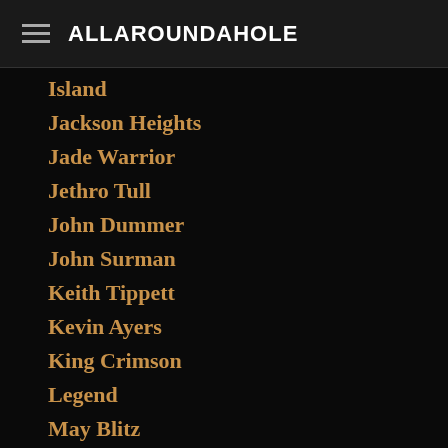ALLAROUNDAHOLE
Island
Jackson Heights
Jade Warrior
Jethro Tull
John Dummer
John Surman
Keith Tippett
Kevin Ayers
King Crimson
Legend
May Blitz
MCA